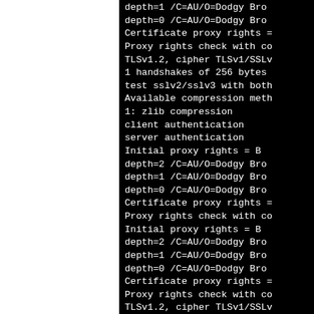depth=1 /C=AU/O=Dodgy Bro
depth=0 /C=AU/O=Dodgy Bro
Certificate proxy rights =
Proxy rights check with co
TLSv1.2, cipher TLSv1/SSLv
1 handshakes of 256 bytes
test sslv2/sslv3 with both
Available compression meth
1: zlib compression
client authentication
server authentication
Initial proxy rights = B
depth=2 /C=AU/O=Dodgy Bro
depth=1 /C=AU/O=Dodgy Bro
depth=0 /C=AU/O=Dodgy Bro
Certificate proxy rights =
Proxy rights check with co
Initial proxy rights = B
depth=2 /C=AU/O=Dodgy Bro
depth=1 /C=AU/O=Dodgy Bro
depth=0 /C=AU/O=Dodgy Bro
Certificate proxy rights =
Proxy rights check with co
TLSv1.2, cipher TLSv1/SSLv